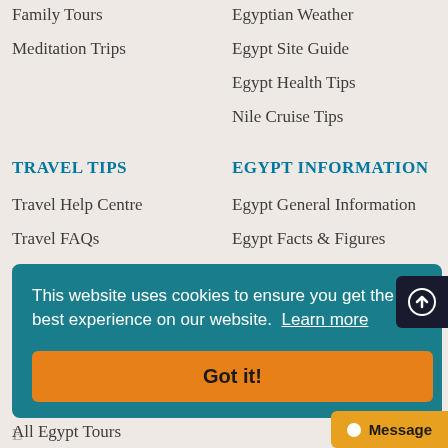Family Tours
Egyptian Weather
Meditation Trips
Egypt Site Guide
Egypt Health Tips
Nile Cruise Tips
TRAVEL TIPS
EGYPT INFORMATION
Travel Help Centre
Egypt General Information
Travel FAQs
Egypt Facts & Figures
Egypt Site Guide
Egyptian Weather
This website uses cookies to ensure you get the best experience on our website. Learn more
Got it!
All Egypt Tours